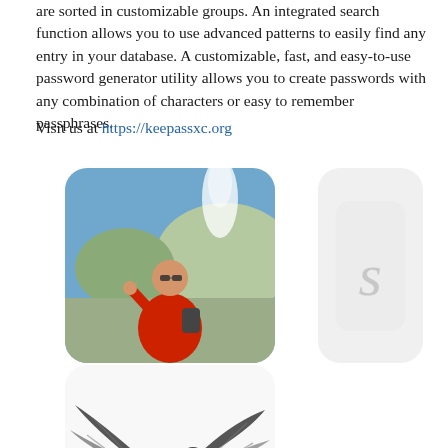are sorted in customizable groups. An integrated search function allows you to use advanced patterns to easily find any entry in your database. A customizable, fast, and easy-to-use password generator utility allows you to create passwords with any combination of characters or easy to remember passphrases.
Visit us at https://keepassxc.org
[Figure (photo): Man in red jacket waving at geyser, rounded rectangle photo]
[Figure (illustration): Light gray rounded rectangle placeholder with a stylized letter S or person icon in gray]
[Figure (photo): Black and white photo of a bird with wings spread, rounded rectangle]